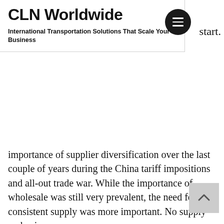CLN Worldwide
International Transportation Solutions That Scale Your Business
start.
importance of supplier diversification over the last couple of years during the China tariff impositions and all-out trade war. While the importance of wholesale was still very prevalent, the need for a consistent supply was more important. No supply = no business.
Mylan CEO, Heather Bresch recently told CNBC she understands that supplies cannot come from a single country alone – instead global distribution comes from a functionally